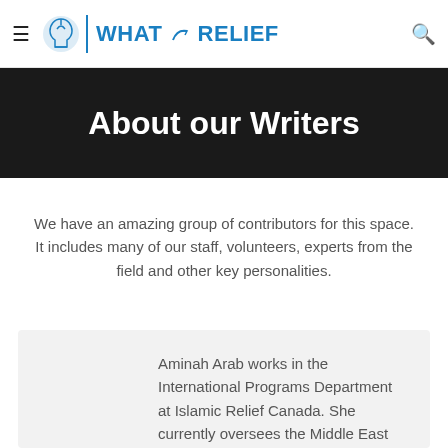≡  WHAT A-RELIEF  🔍
About our Writers
We have an amazing group of contributors for this space. It includes many of our staff, volunteers, experts from the field and other key personalities.
Aminah Arab works in the International Programs Department at Islamic Relief Canada. She currently oversees the Middle East and Eastern Europe portfolios and is